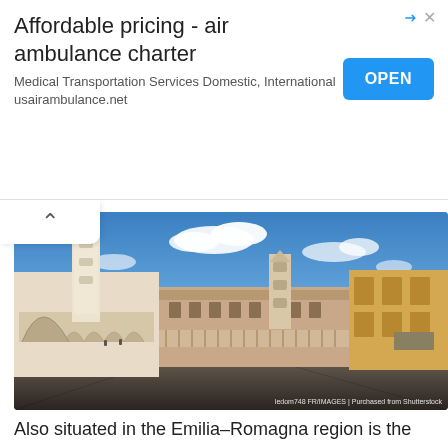[Figure (other): Advertisement banner: 'Affordable pricing - air ambulance charter' with OPEN button, Medical Transportation Services Domestic, International usairambulance.net]
[Figure (photo): Piazza Grande in Modena, Italy, showing the Ghirlandina tower, the Cathedral, and surrounding historic buildings under a blue sky with clouds. Cobblestone square in foreground. Watermark: ledom748 FR/IMAGES | Purchased from Shutterstock]
Also situated in the Emilia–Romagna region is the city of Modena. The city has a lot to boast — the home of balsamic vinegar, the birthplace of some of the world's luxury sports car brands (Ferrari